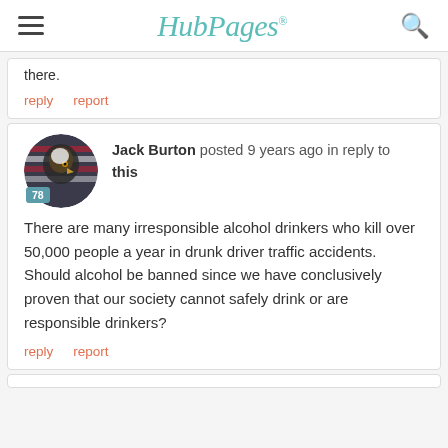HubPages
there.
reply   report
Jack Burton posted 9 years ago in reply to this
There are many irresponsible alcohol drinkers who kill over 50,000 people a year in drunk driver traffic accidents. Should alcohol be banned since we have conclusively proven that our society cannot safely drink or are responsible drinkers?
reply   report